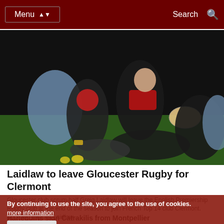Menu | Search
[Figure (photo): Rugby players in action during a night match. A player in black and red jersey passes the ball while players from both teams compete around him. One player wearing a red scrum cap is visible.]
Laidlaw to leave Gloucester Rugby for Clermont
By continuing to use the site, you agree to the use of cookies. more information  Accept
Gloucester club scrum-half Greig Laidlaw will leave the English Premiership Rugby club at the end of the season to join French Top 14 club Clermont. Scotland captain Laidlaw...
Harlequins sign Catrakilis from Montpellier